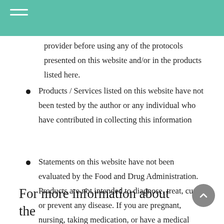provider before using any of the protocols presented on this website and/or in the products listed here.
Products / Services listed on this website have not been tested by the author or any individual who have contributed in collecting this information
Statements on this website have not been evaluated by the Food and Drug Administration. Products are not intended to diagnose, treat, cure or prevent any disease. If you are pregnant, nursing, taking medication, or have a medical condition, consult your physician before consuming any supplement.
For more information about the